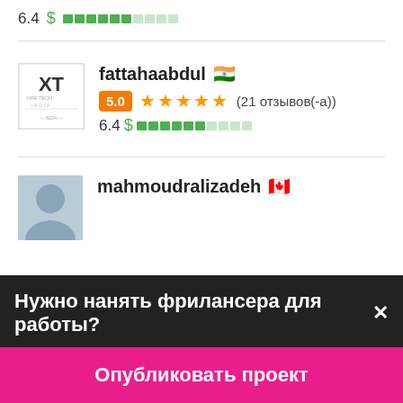6.4 $ [bar indicator]
[Figure (other): Xipe Tech India logo - XT letters in a box with company name below]
fattahaabdul 🇮🇳
5.0 ★★★★★ (21 отзывов(-а))
6.4 $ [bar indicator]
[Figure (photo): Profile photo of mahmoudralizadeh, partially visible]
mahmoudralizadeh 🇨🇦
Нужно нанять фрилансера для работы?✕
Опубликовать проект